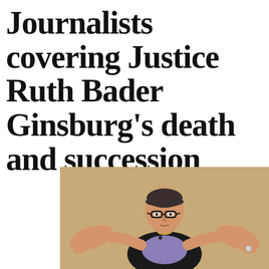Journalists covering Justice Ruth Bader Ginsburg's death and succession
[Figure (photo): Ruth Bader Ginsburg standing with arms outstretched, wearing black jacket and purple blouse, glasses, with a warm beige background]